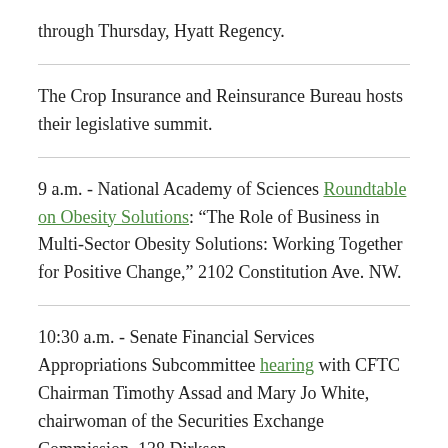through Thursday, Hyatt Regency.
The Crop Insurance and Reinsurance Bureau hosts their legislative summit.
9 a.m. - National Academy of Sciences Roundtable on Obesity Solutions: “The Role of Business in Multi-Sector Obesity Solutions: Working Together for Positive Change,” 2102 Constitution Ave. NW.
10:30 a.m. - Senate Financial Services Appropriations Subcommittee hearing with CFTC Chairman Timothy Assad and Mary Jo White, chairwoman of the Securities Exchange Commission, 138 Dirksen.
11:15 a.m. - Vilsack speaks to The Atlantic’s Summit on Mental Health and Addiction, 1777 F St. NW.
2:30 p.m. - House Agriculture subcommittee hearing for 4-H and a demonstration “The importance of agricultural...